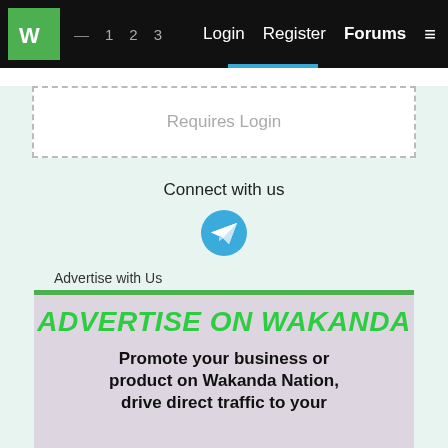W  1  2  3  Login  Register  Forums  ≡
Requires Login
Connect with us
[Figure (illustration): Telegram icon — blue circle with white paper plane]
Advertise with Us
[Figure (infographic): Advertisement banner for Wakanda Nation with green top border, purple-gray background. Text: ADVERTISE ON WAKANDA (large green italic bold), Promote your business or product on Wakanda Nation, drive direct traffic to your (bold black text)]